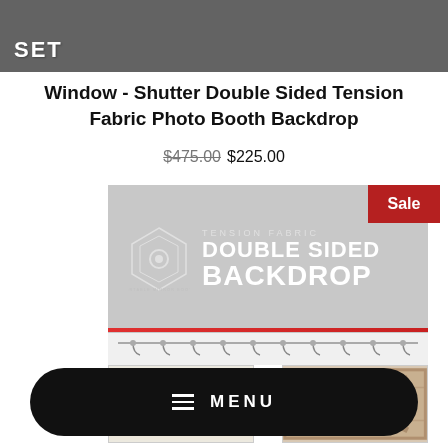[Figure (screenshot): Header banner with dark gray background showing partial product name text 'WINDOW SHUTTER SET' in white bold uppercase letters]
Window - Shutter Double Sided Tension Fabric Photo Booth Backdrop
$475.00  $225.00
[Figure (screenshot): Product promotional banner showing 'TENSION FABRIC DOUBLE SIDED BACKDROP' with logo on gray background, Sale badge in red, hanger strip, and two thumbnail preview images of backdrops]
MENU